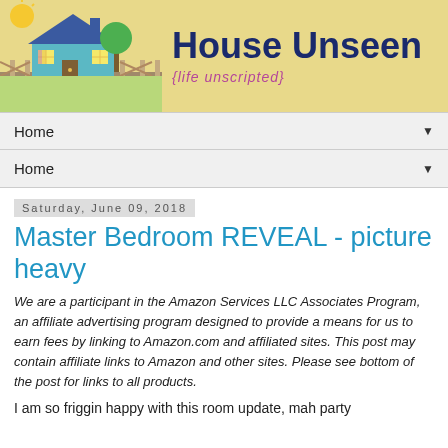[Figure (illustration): House Unseen blog header banner with illustrated house, sun, tree, and text 'house unseen {life unscripted}']
Home ▼
Home ▼
Saturday, June 09, 2018
Master Bedroom REVEAL - picture heavy
We are a participant in the Amazon Services LLC Associates Program, an affiliate advertising program designed to provide a means for us to earn fees by linking to Amazon.com and affiliated sites. This post may contain affiliate links to Amazon and other sites. Please see bottom of the post for links to all products.
I am so friggin happy with this room update, mah party